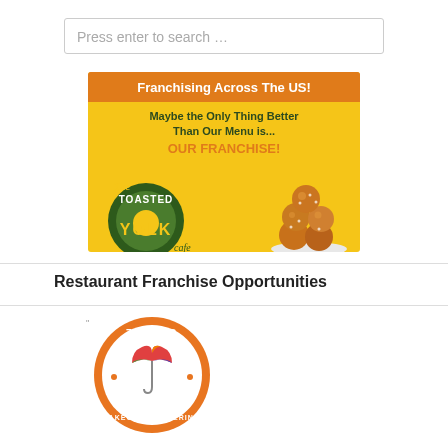Press enter to search …
[Figure (illustration): Toasted Yolk Cafe franchise advertisement banner. Orange header bar reading 'Franchising Across The US!', tagline 'Maybe the Only Thing Better Than Our Menu is... OUR FRANCHISE!', with The Toasted Yolk Cafe logo on yellow background and food photo of stacked pastries.]
Restaurant Franchise Opportunities
[Figure (logo): Zunzi's takeout and catering circular orange logo with colorful umbrella icon]